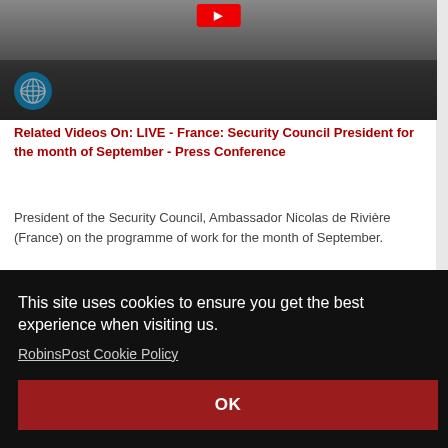[Figure (screenshot): Thumbnail image of a UN Security Council press conference video, with a red play button at the top and a UN logo badge on the lower left.]
Related Videos On: LIVE - France: Security Council President for the month of September - Press Conference
President of the Security Council, Ambassador Nicolas de Rivière (France) on the programme of work for the month of September.
This site uses cookies to ensure you get the best experience when visiting us.
RobinsPost Cookie Policy
OK
[Figure (screenshot): Partial thumbnail image of another UN-related video at the bottom of the page, showing a dark overlay with a red play button and a blue UN logo.]